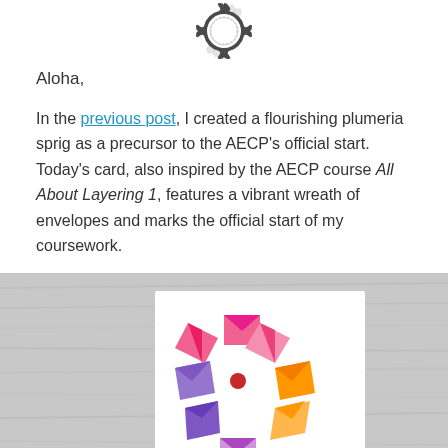[Figure (logo): Circular badge/stamp logo with gear-like border in dark gray]
Aloha,
In the previous post, I created a flourishing plumeria sprig as a precursor to the AECP's official start. Today's card, also inspired by the AECP course All About Layering 1, features a vibrant wreath of envelopes and marks the official start of my coursework.
[Figure (photo): Photo of a handmade greeting card showing a colorful wreath made of envelope shapes in pink, purple, and orange tones on a gray wood background, with text 'sending hugs' at the bottom]